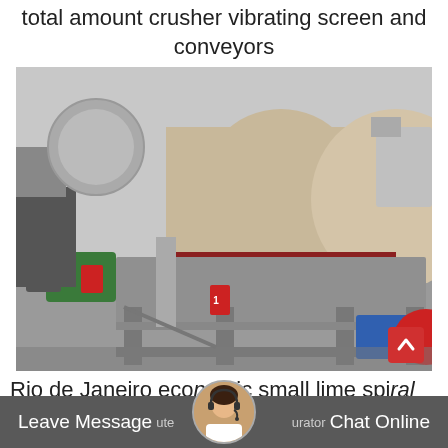total amount crusher vibrating screen and conveyors
[Figure (photo): Industrial magnetic separator machine with large cylindrical drum on a grey steel frame, placed in a factory/warehouse setting. Green motor visible on the left side.]
Rio de Janeiro economic small lime spiral
Leave Message  ute  urator  Chat Online